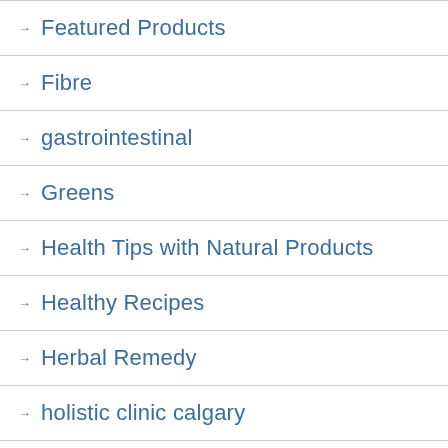Featured Products
Fibre
gastrointestinal
Greens
Health Tips with Natural Products
Healthy Recipes
Herbal Remedy
holistic clinic calgary
immune system
In Store Specials